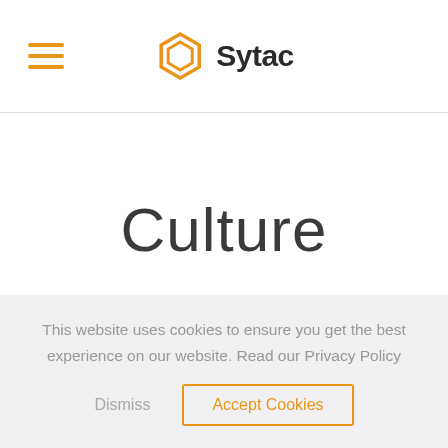Sytac
Culture
This website uses cookies to ensure you get the best experience on our website. Read our Privacy Policy
Dismiss | Accept Cookies